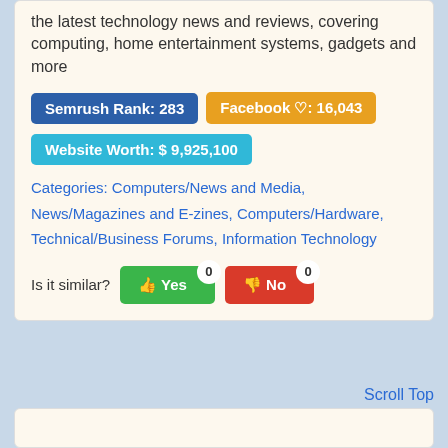the latest technology news and reviews, covering computing, home entertainment systems, gadgets and more
Semrush Rank: 283
Facebook ♡: 16,043
Website Worth: $ 9,925,100
Categories: Computers/News and Media, News/Magazines and E-zines, Computers/Hardware, Technical/Business Forums, Information Technology
Is it similar? Yes 0  No 0
Scroll Top